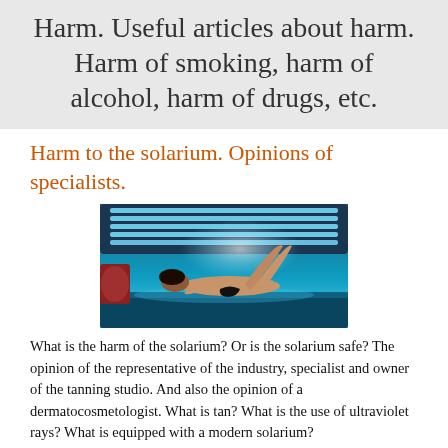Harm. Useful articles about harm. Harm of smoking, harm of alcohol, harm of drugs, etc.
Harm to the solarium. Opinions of specialists.
[Figure (photo): A woman lying in a tanning bed (solarium). The bed glows with blue-white UV light from rows of tubes above her. The woman is wearing a bikini bottom and is lying on her back with legs raised.]
What is the harm of the solarium? Or is the solarium safe? The opinion of the representative of the industry, specialist and owner of the tanning studio. And also the opinion of a dermatocosmetologist. What is tan? What is the use of ultraviolet rays? What is equipped with a modern solarium?